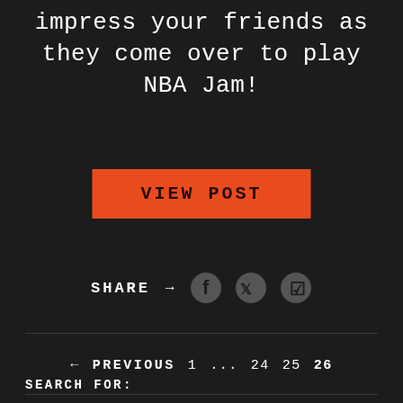impress your friends as they come over to play NBA Jam!
[Figure (other): Orange button labeled VIEW POST]
[Figure (other): Share row with arrow and social icons: Facebook, Twitter, Pinterest]
← PREVIOUS   1  ...  24  25  26
SEARCH FOR: